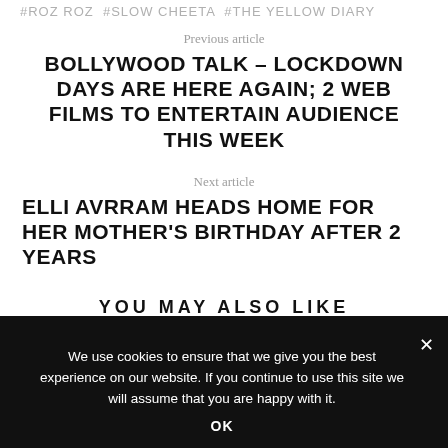#ROZ ROZ #SLOW CHEETA #THE YELLOW DIARY
Previous article
BOLLYWOOD TALK – LOCKDOWN DAYS ARE HERE AGAIN; 2 WEB FILMS TO ENTERTAIN AUDIENCE THIS WEEK
Next article
ELLI AVRRAM HEADS HOME FOR HER MOTHER'S BIRTHDAY AFTER 2 YEARS
YOU MAY ALSO LIKE
We use cookies to ensure that we give you the best experience on our website. If you continue to use this site we will assume that you are happy with it.
OK